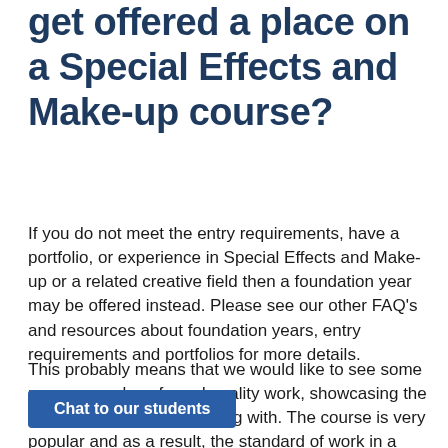get offered a place on a Special Effects and Make-up course?
If you do not meet the entry requirements, have a portfolio, or experience in Special Effects and Make-up or a related creative field then a foundation year may be offered instead. Please see our other FAQ's and resources about foundation years, entry requirements and portfolios for more details.
This probably means that we would like to see some more examples of good quality work, showcasing the skillsets that you are starting with. The course is very popular and as a result, the standard of work in a portfolio should be high. Portfolios should be